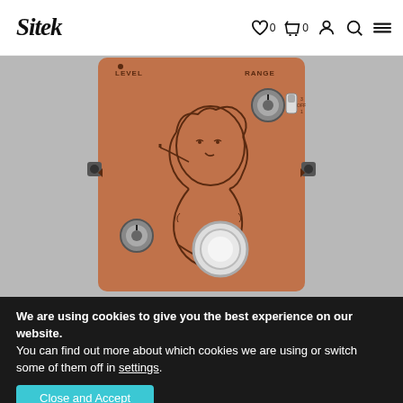Sitek — navigation header with logo, wishlist (0), cart (0), account, search, and menu icons
[Figure (photo): A guitar effects pedal with a terracotta/rust-colored body featuring a pin-up woman illustration holding a cigarette. The pedal has two knobs labeled LEVEL and RANGE, a large chrome footswitch, a mini toggle switch, and side input/output jacks.]
We are using cookies to give you the best experience on our website.
You can find out more about which cookies we are using or switch some of them off in settings.
Close and Accept